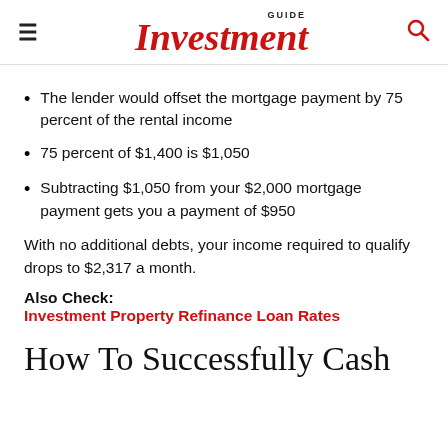GUIDE Investment
The lender would offset the mortgage payment by 75 percent of the rental income
75 percent of $1,400 is $1,050
Subtracting $1,050 from your $2,000 mortgage payment gets you a payment of $950
With no additional debts, your income required to qualify drops to $2,317 a month.
Also Check: Investment Property Refinance Loan Rates
How To Successfully Cash